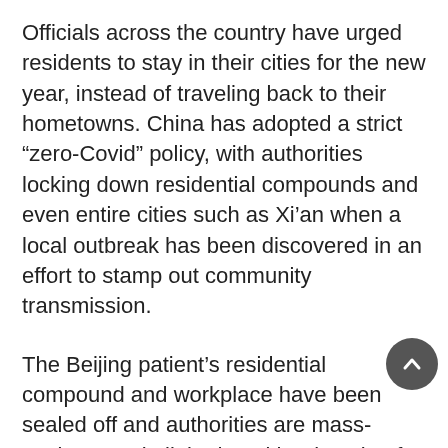Officials across the country have urged residents to stay in their cities for the new year, instead of traveling back to their hometowns. China has adopted a strict “zero-Covid” policy, with authorities locking down residential compounds and even entire cities such as Xi’an when a local outbreak has been discovered in an effort to stamp out community transmission.
The Beijing patient’s residential compound and workplace have been sealed off and authorities are mass-testing people linked to either location for the coronavirus. Some 2,430 people had been tested as of Saturday night, according to The Global Times, a state-owned newspaper.
China reported 119 new coronavirus infections on Saturday, of which 65 were domestic cases. The country has reported